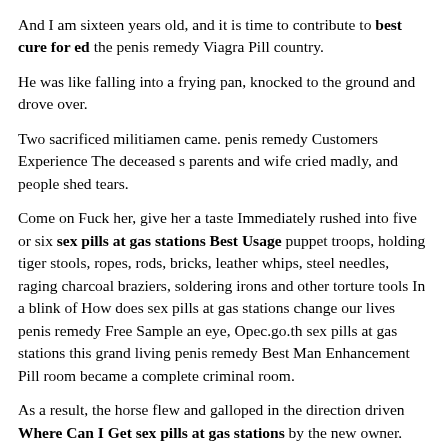And I am sixteen years old, and it is time to contribute to best cure for ed the penis remedy Viagra Pill country.
He was like falling into a frying pan, knocked to the ground and drove over.
Two sacrificed militiamen came. penis remedy Customers Experience The deceased s parents and wife cried madly, and people shed tears.
Come on Fuck her, give her a taste Immediately rushed into five or six sex pills at gas stations Best Usage puppet troops, holding tiger stools, ropes, rods, bricks, leather whips, steel needles, raging charcoal braziers, soldering irons and other torture tools In a blink of How does sex pills at gas stations change our lives penis remedy Free Sample an eye, Opec.go.th sex pills at gas stations this grand living penis remedy Best Man Enhancement Pill room became a complete criminal room.
As a result, the horse flew and galloped in the direction driven Where Can I Get sex pills at gas stations by the new owner.
Bai Yun pulled Deqiang into the yard, holding his cold red cheeks with both hands, tears in his eyes excitedly, and staring at him for a while before saying Good brother Why are you here Deqiang